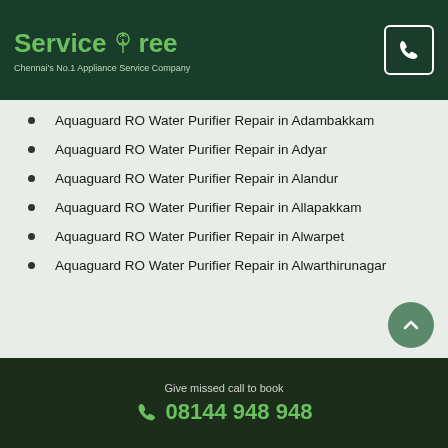ServiceTree — Chennai's No.1 Appliance Service Company
Aquaguard RO Water Purifier Repair in Adambakkam
Aquaguard RO Water Purifier Repair in Adyar
Aquaguard RO Water Purifier Repair in Alandur
Aquaguard RO Water Purifier Repair in Allapakkam
Aquaguard RO Water Purifier Repair in Alwarpet
Aquaguard RO Water Purifier Repair in Alwarthirunagar
Give missed call to book
08144 948 948